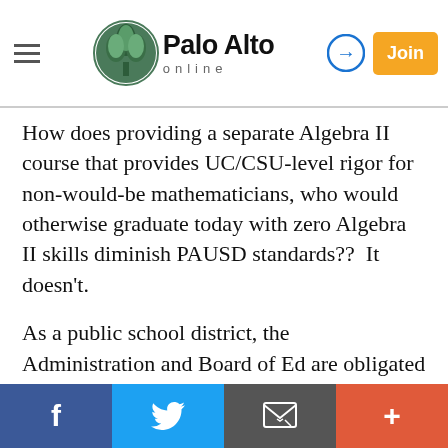Palo Alto online
How does providing a separate Algebra II course that provides UC/CSU-level rigor for non-would-be mathematicians, who would otherwise graduate today with zero Algebra II skills diminish PAUSD standards??  It doesn't.
As a public school district, the Administration and Board of Ed are obligated to ensure that it delivers the greatest level of education across its spectrum of students.  The Paly Math Dept letter demonstrates that this is not even a goal.
There is no effort on the part of advocates for the resolution presented at the Board meeting to "water
f  [twitter]  [email]  +